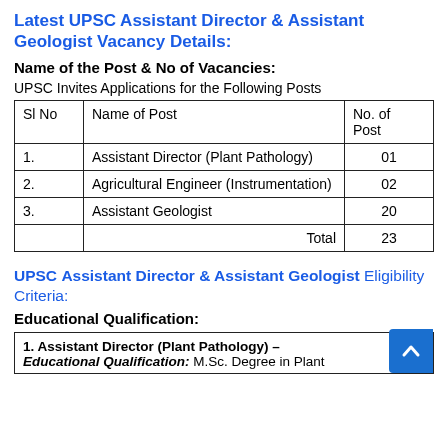Latest UPSC Assistant Director & Assistant Geologist Vacancy Details:
Name of the Post & No of Vacancies:
UPSC Invites Applications for the Following Posts
| Sl No | Name of Post | No. of Post |
| --- | --- | --- |
| 1. | Assistant Director (Plant Pathology) | 01 |
| 2. | Agricultural Engineer (Instrumentation) | 02 |
| 3. | Assistant Geologist | 20 |
|  | Total | 23 |
UPSC Assistant Director & Assistant Geologist Eligibility Criteria:
Educational Qualification:
1. Assistant Director (Plant Pathology) – Educational Qualification: M.Sc. Degree in Plant